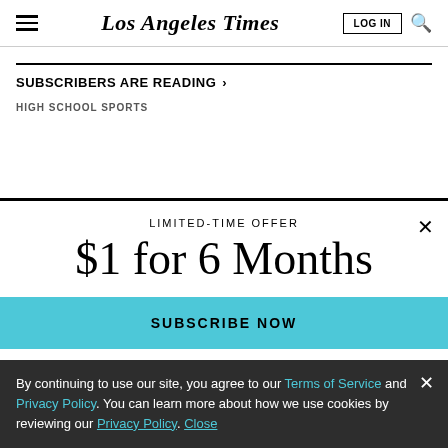Los Angeles Times
SUBSCRIBERS ARE READING >
HIGH SCHOOL SPORTS
[Figure (screenshot): Subscription modal overlay with 'LIMITED-TIME OFFER', '$1 for 6 Months' headline, and 'SUBSCRIBE NOW' teal button]
By continuing to use our site, you agree to our Terms of Service and Privacy Policy. You can learn more about how we use cookies by reviewing our Privacy Policy. Close